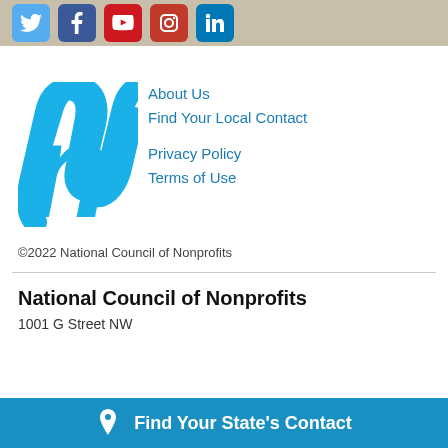[Figure (other): Social media icons in a tan/beige bar: Twitter (blue), Facebook (dark blue), YouTube (red), Instagram (red), LinkedIn (blue)]
[Figure (logo): National Council of Nonprofits logo — stylized lowercase 'n' in cyan/blue]
About Us
Find Your Local Contact
Privacy Policy
Terms of Use
©2022 National Council of Nonprofits
National Council of Nonprofits
1001 G Street NW
Find Your State's Contact